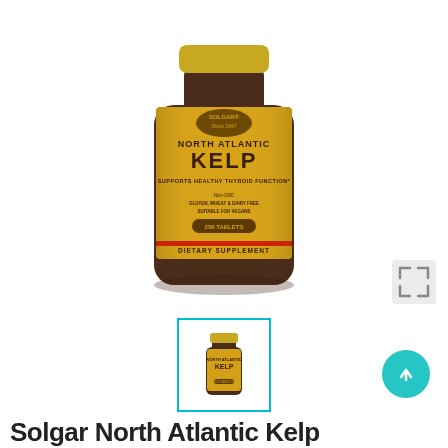[Figure (photo): Solgar North Atlantic Kelp supplement bottle with gold label showing 'NORTH ATLANTIC KELP', 'Supports Healthy Thyroid Function*', 'Non-GMO Gluten, Wheat & Dairy Free Suitable for Vegans', '250 Tablets', 'Dietary Supplement', brown glass bottle on white background]
[Figure (screenshot): Expand/fullscreen icon (grey arrows pointing outward in four diagonal directions)]
[Figure (photo): Small thumbnail image of the same Solgar North Atlantic Kelp brown bottle with teal/cyan border frame]
[Figure (other): Teal circular scroll-to-top button with upward arrow icon]
Solgar North Atlantic Kelp